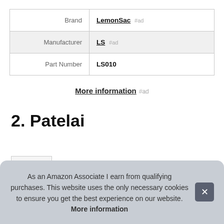|  |  |
| --- | --- |
| Brand | LemonSac #ad |
| Manufacturer | LS #ad |
| Part Number | LS010 |
More information #ad
2. Patelai
As an Amazon Associate I earn from qualifying purchases. This website uses the only necessary cookies to ensure you get the best experience on our website. More information